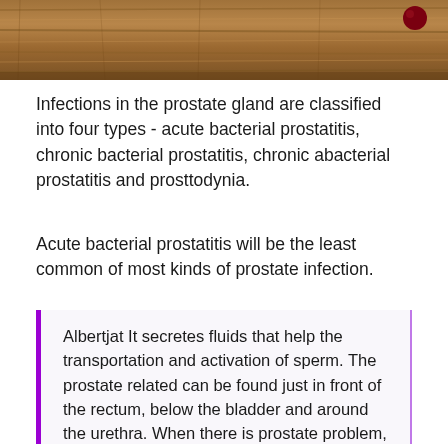[Figure (photo): Wooden surface/table top texture with a dark red circular object (berry or bead) visible in the upper right corner]
Infections in the prostate gland are classified into four types - acute bacterial prostatitis, chronic bacterial prostatitis, chronic abacterial prostatitis and prosttodynia.
Acute bacterial prostatitis will be the least common of most kinds of prostate infection.
Albertjat It secretes fluids that help the transportation and activation of sperm. The prostate related can be found just in front of the rectum, below the bladder and around the urethra. When there is prostate problem, in most cases very uncomfortable and inconvenient for the patient as his urinary method is directly affected.